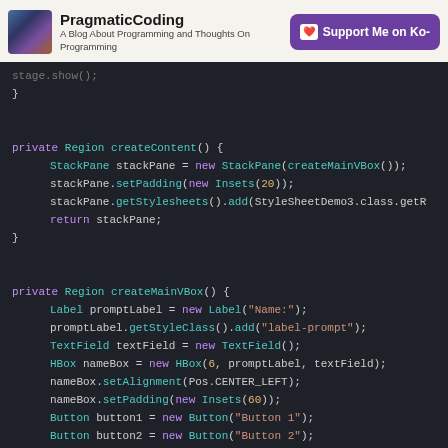PragmaticCoding — A Blog About Programming and Thoughts On Programming
[Figure (screenshot): Blog logo image — abstract purple/blue swirl]
Support Me on Ko-
stage.show();
}
private Region createContent() {
StackPane stackPane = new StackPane(createMainVBox());
stackPane.setPadding(new Insets(20));
stackPane.getStylesheets().add(StyleSheetDemo3.class.getR
return stackPane;
}
private Region createMainVBox() {
Label promptLabel = new Label("Name:");
promptLabel.getStyleClass().add("label-prompt");
TextField textField = new TextField();
HBox nameBox = new HBox(6, promptLabel, textField);
nameBox.setAlignment(Pos.CENTER_LEFT);
nameBox.setPadding(new Insets(60));
Button button1 = new Button("Button 1");
Button button2 = new Button("Button 2");
button2.setDefaultButton(true);